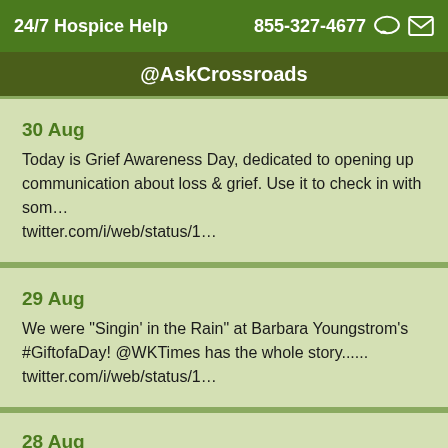24/7 Hospice Help   855-327-4677
@AskCrossroads
30 Aug
Today is Grief Awareness Day, dedicated to opening up communication about loss & grief. Use it to check in with som… twitter.com/i/web/status/1…
29 Aug
We were "Singin' in the Rain" at Barbara Youngstrom's #GiftofaDay! @WKTimes has the whole story...... twitter.com/i/web/status/1…
28 Aug